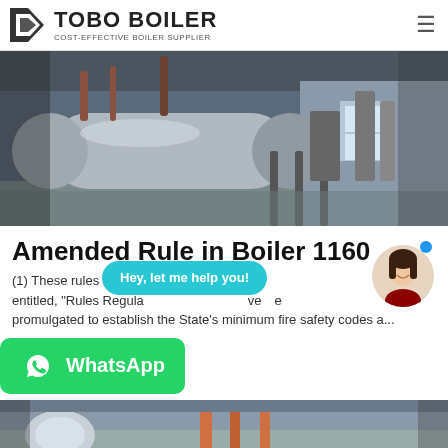TOBO BOILER COST-EFFECTIVE BOILER SUPPLIER
[Figure (photo): Industrial boiler in a factory/warehouse setting, showing a large silver cylindrical boiler vessel with pipes and equipment in the background.]
Amended Rule in Boiler 1160
(1) These rules andreg... om entitled, "Rules Regula... ve... e promulgated to establish the State's minimum fire safety codes a...
[Figure (screenshot): WhatsApp chat widget with 'Hey, let me help you!' speech bubble and female avatar with blue dot indicator, and green WhatsApp button.]
[Figure (photo): Bottom portion of another boiler facility photo showing industrial equipment.]